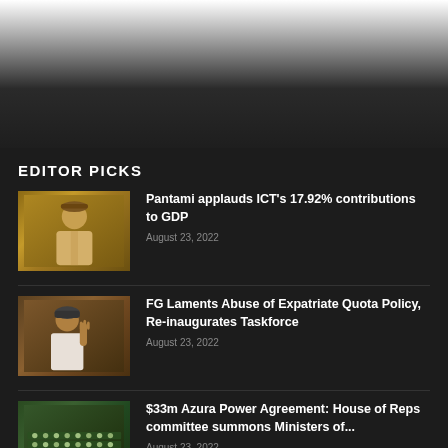EDITOR PICKS
[Figure (photo): Portrait photo of Pantami, a man wearing a traditional Nigerian cap and white clothing, seated]
Pantami applauds ICT's 17.92% contributions to GDP
August 23, 2022
[Figure (photo): Photo of a man in white clothing gesturing with his hand raised, appears to be speaking]
FG Laments Abuse of Expatriate Quota Policy, Re-inaugurates Taskforce
August 23, 2022
[Figure (photo): Photo of a legislative hall filled with people, rows of green seats visible]
$33m Azura Power Agreement: House of Reps committee summons Ministers of...
August 23, 2022